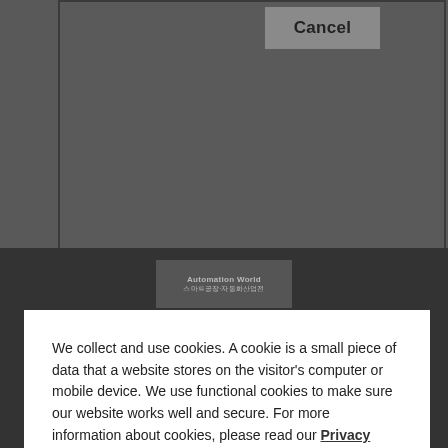[Figure (screenshot): Cancel button inside a dark gray modal/dialog box area at the top of the page]
We collect and use cookies. A cookie is a small piece of data that a website stores on the visitor's computer or mobile device. We use functional cookies to make sure our website works well and secure. For more information about cookies, please read our Privacy Policy
[Figure (screenshot): Agree button - dark rectangular button with light gray text]
[Figure (logo): Smart Factory + Automation World logo with Korean text 스마트공장·자동화산업전]
SMART FACTORY + AUTOMATION WORLD Secretariat : 313, Yeongdong-daero, Gangnam-gu, Seoul 06164, Korea
TEL +82-2-6000-8130 FAX +82-2-6944-8304 E-MAIL sfawoverseas@gmail.com
© 2023 SMART FACTORY + AUTOMATION WORLD.
[Figure (screenshot): Social media icons row - Facebook, YouTube, KakaoTalk, and another platform icons]